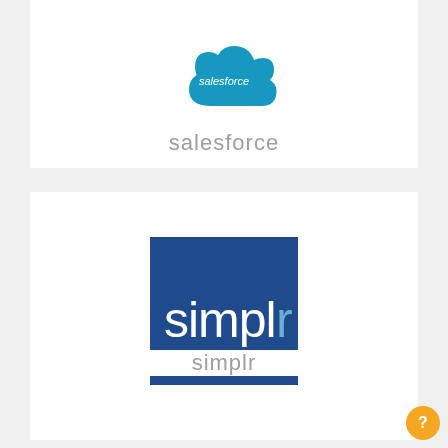[Figure (logo): Salesforce cloud logo — blue cloud shape with 'salesforce' text in white]
salesforce
[Figure (logo): Simplr logo — dark blue square with 'simplr' text in white and light blue]
simplr